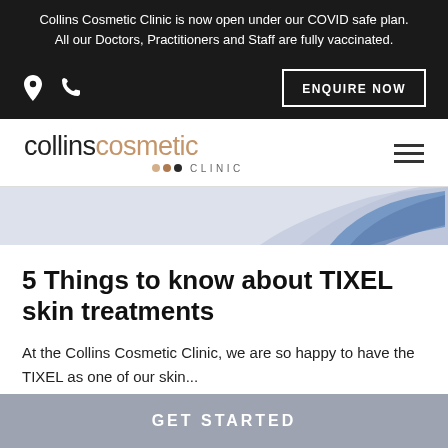Collins Cosmetic Clinic is now open under our COVID safe plan. All our Doctors, Practitioners and Staff are fully vaccinated.
[Figure (logo): Collins Cosmetic Clinic logo with stylized text and three dots in beige and dark colours, with hamburger menu icon]
[Figure (photo): Partial image of a blue cosmetic/medical device against a light grey-blue background]
5 Things to know about TIXEL skin treatments
At the Collins Cosmetic Clinic, we are so happy to have the TIXEL as one of our skin...
READ MORE →
GET STARTED